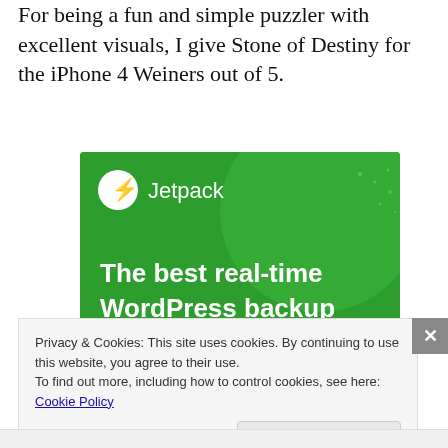For being a fun and simple puzzler with excellent visuals, I give Stone of Destiny for the iPhone 4 Weiners out of 5.
[Figure (illustration): Jetpack plugin advertisement banner with green background showing logo and text 'The best real-time WordPress backup plugin']
Privacy & Cookies: This site uses cookies. By continuing to use this website, you agree to their use.
To find out more, including how to control cookies, see here: Cookie Policy